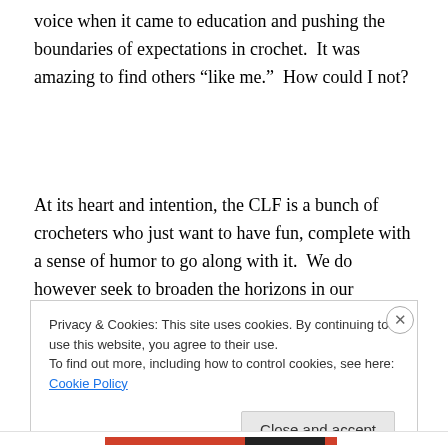voice when it came to education and pushing the boundaries of expectations in crochet.  It was amazing to find others “like me.”  How could I not?
At its heart and intention, the CLF is a bunch of crocheters who just want to have fun, complete with a sense of humor to go along with it.  We do however seek to broaden the horizons in our industry, and promote the beauty and
Privacy & Cookies: This site uses cookies. By continuing to use this website, you agree to their use.
To find out more, including how to control cookies, see here: Cookie Policy